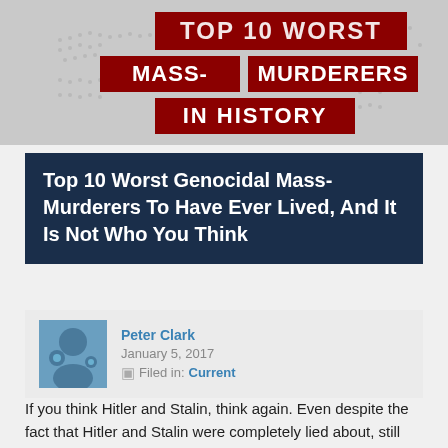[Figure (illustration): Hero banner image with a gray world map background and red banner text reading 'TOP 10 WORST MASS-MURDERERS IN HISTORY' in distressed military stencil font.]
Top 10 Worst Genocidal Mass-Murderers To Have Ever Lived, And It Is Not Who You Think
Peter Clark
January 5, 2017
Filed in: Current
If you think Hitler and Stalin, think again. Even despite the fact that Hitler and Stalin were completely lied about, still they do not come close to some of the other mass